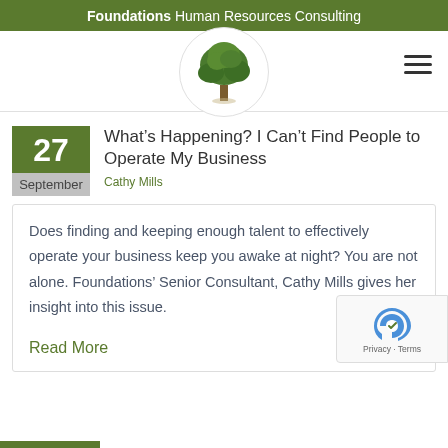Foundations Human Resources Consulting
[Figure (logo): Tree logo in a circular frame for Foundations Human Resources Consulting]
What's Happening? I Can't Find People to Operate My Business
Cathy Mills
Does finding and keeping enough talent to effectively operate your business keep you awake at night? You are not alone. Foundations' Senior Consultant, Cathy Mills gives her insight into this issue.
Read More